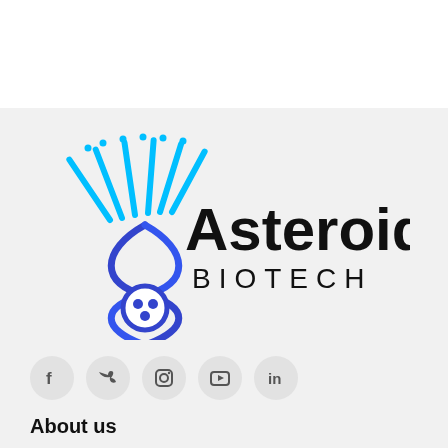[Figure (logo): Asteroid Biotech logo: a DNA helix with cyan streaks forming wing-like shape, blue circular atom at base, with bold text 'Asteroid' and spaced caps 'BIOTECH']
[Figure (infographic): Social media icons row: Facebook, Twitter, Instagram, YouTube, LinkedIn — each in a rounded grey circle button]
About us